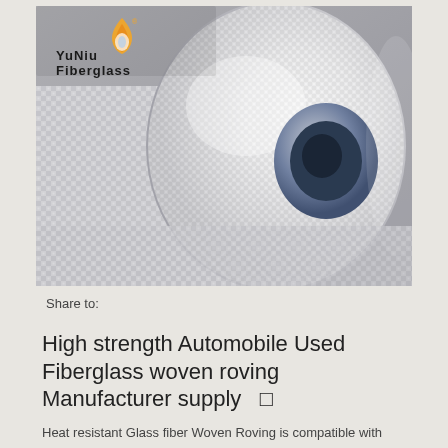[Figure (photo): A roll of white/silver fiberglass woven roving fabric with a YuNiu Fiberglass logo in the top-left corner. The roll shows a woven textile pattern and is resting on a gray surface.]
Share to:
High strength Automobile Used Fiberglass woven roving Manufacturer supply  🔲
Heat resistant Glass fiber Woven Roving is compatible with